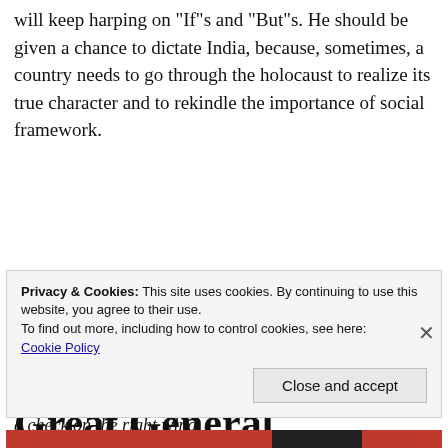will keep harping on "If"s and "But"s. He should be given a chance to dictate India, because, sometimes, a country needs to go through the holocaust to realize its true character and to rekindle the importance of social framework.
Disclaimer: I would still not wish BJP to get 272 seats. A BJP (max 200 seats) led coalition government would keep a check on the right wing
Great General Election…
Privacy & Cookies: This site uses cookies. By continuing to use this website, you agree to their use.
To find out more, including how to control cookies, see here:
Cookie Policy
Close and accept